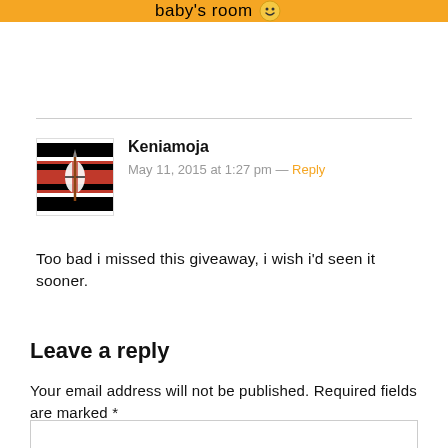baby's room 🙂
Keniamoja
May 11, 2015 at 1:27 pm — Reply
Too bad i missed this giveaway, i wish i'd seen it sooner.
Leave a reply
Your email address will not be published. Required fields are marked *